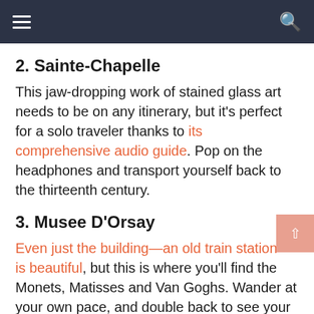Navigation bar with hamburger menu and search icon
2. Sainte-Chapelle
This jaw-dropping work of stained glass art needs to be on any itinerary, but it's perfect for a solo traveler thanks to its comprehensive audio guide. Pop on the headphones and transport yourself back to the thirteenth century.
3. Musee D'Orsay
Even just the building—an old train station—is beautiful, but this is where you'll find the Monets, Matisses and Van Goghs. Wander at your own pace, and double back to see your favorites.